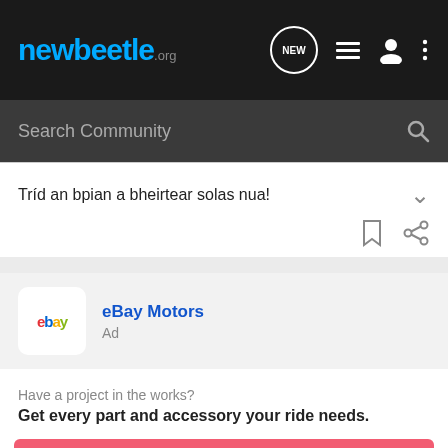newbeetle.org
Search Community
Tríd an bpian a bheirtear solas nua!
[Figure (logo): eBay Motors ad card with eBay logo, title 'eBay Motors', and label 'Ad']
Have a project in the works?
Get every part and accessory your ride needs.
[Figure (logo): eBay Motors pink/coral banner with 'ebay motors' text in dark]